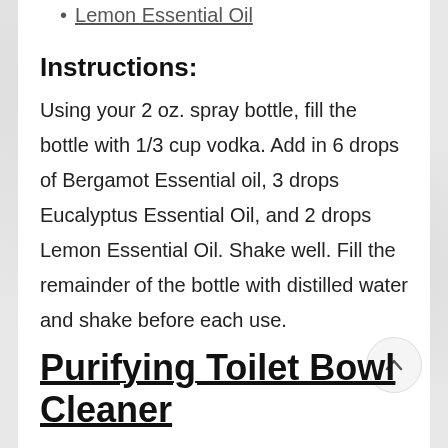Lemon Essential Oil
Instructions:
Using your 2 oz. spray bottle, fill the bottle with 1/3 cup vodka. Add in 6 drops of Bergamot Essential oil, 3 drops Eucalyptus Essential Oil, and 2 drops Lemon Essential Oil. Shake well. Fill the remainder of the bottle with distilled water and shake before each use.
Purifying Toilet Bowl Cleaner